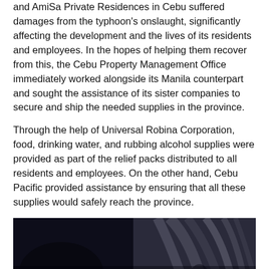and AmiSa Private Residences in Cebu suffered damages from the typhoon's onslaught, significantly affecting the development and the lives of its residents and employees. In the hopes of helping them recover from this, the Cebu Property Management Office immediately worked alongside its Manila counterpart and sought the assistance of its sister companies to secure and ship the needed supplies in the province.
Through the help of Universal Robina Corporation, food, drinking water, and rubbing alcohol supplies were provided as part of the relief packs distributed to all residents and employees. On the other hand, Cebu Pacific provided assistance by ensuring that all these supplies would safely reach the province.
[Figure (photo): A dark indoor photograph showing people, with hair visible against a dark background and a blue accent element visible at the bottom center.]